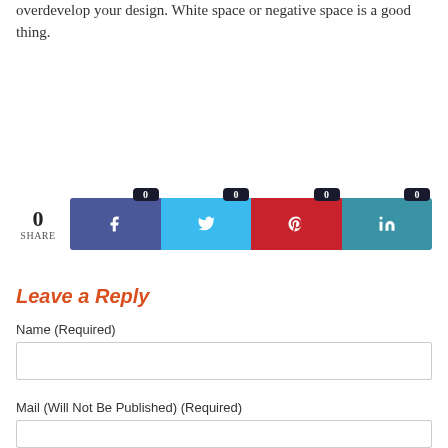overdevelop your design. White space or negative space is a good thing.
[Figure (infographic): Social share bar with share count of 0, and four buttons: Facebook (0), Twitter (0), Pinterest (0), LinkedIn (0)]
Leave a Reply
Name (Required)
Mail (Will Not Be Published) (Required)